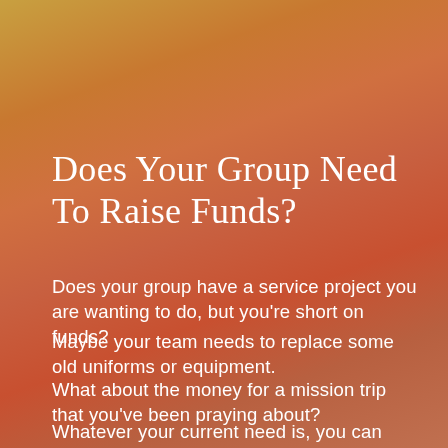Does Your Group Need To Raise Funds?
Does your group have a service project you are wanting to do, but you're short on funds?
Maybe your team needs to replace some old uniforms or equipment.
What about the money for a mission trip that you've been praying about?
Whatever your current need is, you can raise the funds quickly using my